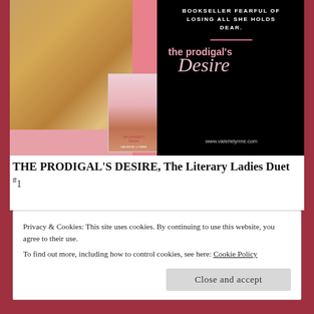[Figure (illustration): Book cover advertisement for 'The Prodigal's Desire' by Valerie Lynne. Left half shows a woman in golden light with a book thumbnail overlay on a pink background. Right half has black background with white bold text 'BOOKSELLER FEARFUL OF LOSING ALL SHE HOLDS DEAR.' followed by a pink divider line, then pink text 'the prodigal's' and cursive italic text 'Desire' and URL www.valerielynne.com]
THE PRODIGAL'S DESIRE, The Literary Ladies Duet #1
Privacy & Cookies: This site uses cookies. By continuing to use this website, you agree to their use.
To find out more, including how to control cookies, see here: Cookie Policy
Close and accept